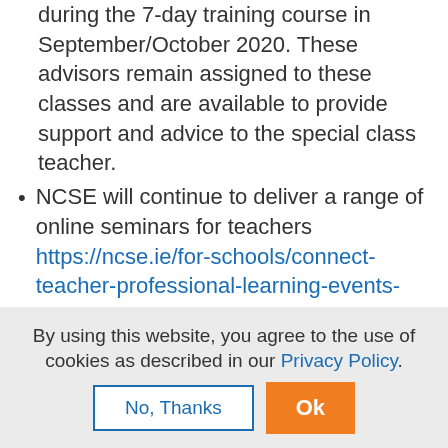during the 7-day training course in September/October 2020. These advisors remain assigned to these classes and are available to provide support and advice to the special class teacher.
NCSE will continue to deliver a range of online seminars for teachers https://ncse.ie/for-schools/connect-teacher-professional-learning-events-catalogue covering a range of topics including supporting children with autism in school, positive behaviour management, assistive technology etc. These courses are designed to increase teachers' capacity to support and teach students with special educational needs.
By using this website, you agree to the use of cookies as described in our Privacy Policy.
Ok
No, Thanks